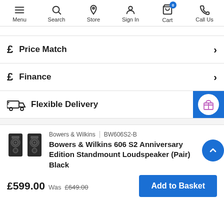Menu | Search | Store | Sign In | Cart (0) | Call Us
£  Price Match
£  Finance
Flexible Delivery
Bowers & Wilkins | BW606S2-B
Bowers & Wilkins 606 S2 Anniversary Edition Standmount Loudspeaker (Pair) Black
£599.00  Was £649.00
Add to Basket